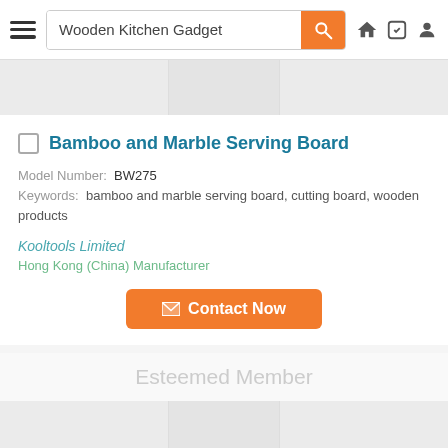Wooden Kitchen Gadget
Bamboo and Marble Serving Board
Model Number: BW275
Keywords: bamboo and marble serving board, cutting board, wooden products
Kooltools Limited
Hong Kong (China) Manufacturer
Contact Now
Esteemed Member